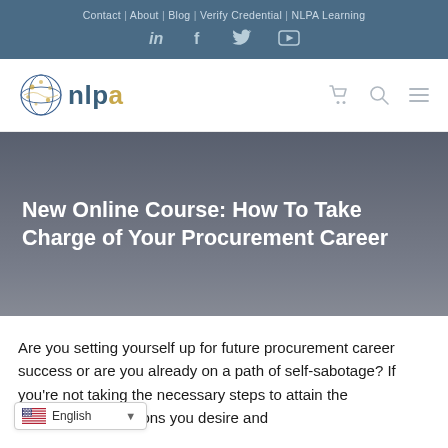Contact | About | Blog | Verify Credential | NLPA Learning
[Figure (logo): NLPA logo with globe icon and text 'nlpa' in blue and gold]
New Online Course: How To Take Charge of Your Procurement Career
Are you setting yourself up for future procurement career success or are you already on a path of self-sabotage? If you're not taking the necessary steps to attain the procurement positions you desire and